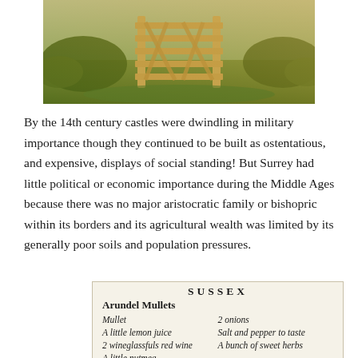[Figure (photo): A wooden five-bar gate in a countryside field setting, with green vegetation and grassy surroundings in warm light.]
By the 14th century castles were dwindling in military importance though they continued to be built as ostentatious, and expensive, displays of social standing! But Surrey had little political or economic importance during the Middle Ages because there was no major aristocratic family or bishopric within its borders and its agricultural wealth was limited by its generally poor soils and population pressures.
SUSSEX
Arundel Mullets
Mullet
A little lemon juice
2 wineglassfuls red wine
A little nutmeg
2 onions
Salt and pepper to taste
A bunch of sweet herbs